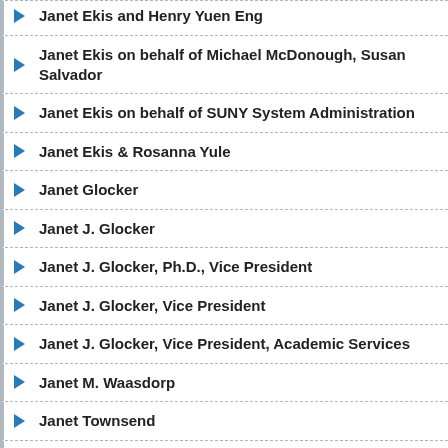Janet Ekis and Henry Yuen Eng
Janet Ekis on behalf of Michael McDonough, Susan Salvador
Janet Ekis on behalf of SUNY System Administration
Janet Ekis & Rosanna Yule
Janet Glocker
Janet J. Glocker
Janet J. Glocker, Ph.D., Vice President
Janet J. Glocker, Vice President
Janet J. Glocker, Vice President, Academic Services
Janet M. Waasdorp
Janet Townsend
Janet Waasdorp